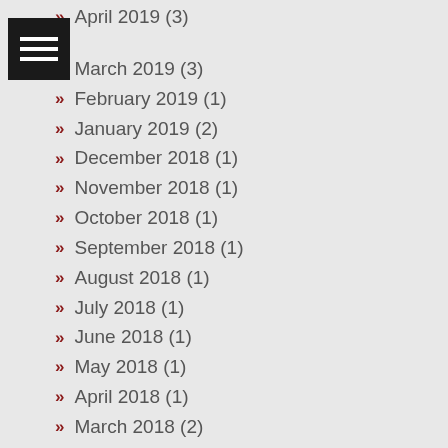April 2019 (3)
March 2019 (3)
February 2019 (1)
January 2019 (2)
December 2018 (1)
November 2018 (1)
October 2018 (1)
September 2018 (1)
August 2018 (1)
July 2018 (1)
June 2018 (1)
May 2018 (1)
April 2018 (1)
March 2018 (2)
February 2018 (1)
January 2018 (2)